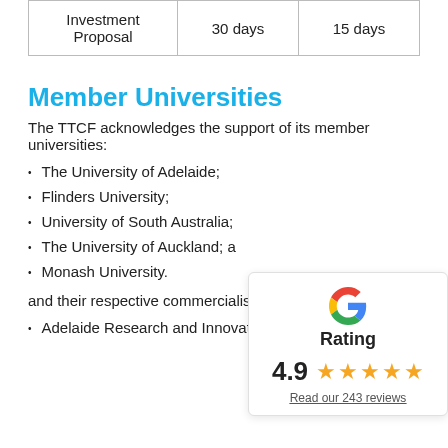| Investment Proposal | 30 days | 15 days |
| --- | --- | --- |
Member Universities
The TTCF acknowledges the support of its member universities:
The University of Adelaide;
Flinders University;
University of South Australia;
The University of Auckland; a
Monash University.
and their respective commercialisati
[Figure (infographic): Google rating widget showing 4.9 stars and 'Read our 243 reviews' link]
Adelaide Research and Innovation;